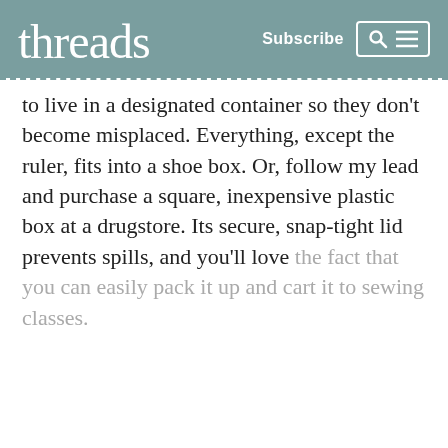threads   Subscribe
to live in a designated container so they don't become misplaced. Everything, except the ruler, fits into a shoe box. Or, follow my lead and purchase a square, inexpensive plastic box at a drugstore. Its secure, snap-tight lid prevents spills, and you'll love the fact that you can easily pack it up and cart it to sewing classes.
[Figure (logo): LinkedIn logo circle icon in teal/cyan color with white 'in' text]
Start your 14-day FREE trial to access this story.